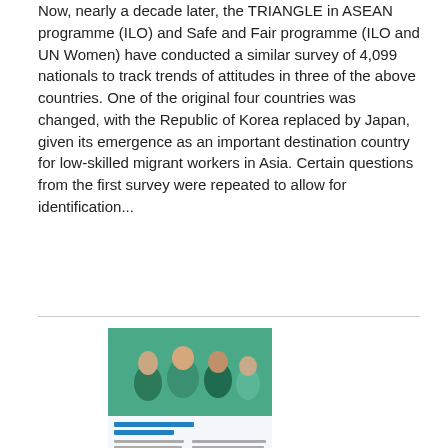Now, nearly a decade later, the TRIANGLE in ASEAN programme (ILO) and Safe and Fair programme (ILO and UN Women) have conducted a similar survey of 4,099 nationals to track trends of attitudes in three of the above countries. One of the original four countries was changed, with the Republic of Korea replaced by Japan, given its emergence as an important destination country for low-skilled migrant workers in Asia. Certain questions from the first survey were repeated to allow for identification...
[Figure (photo): Thumbnail image of a publication cover showing a group of women and text content below]
Women's Political Empowerment and Leadership
Date: Wednesday, 21 November 2018
Gender equality lies at the core of human rights and is the bedrock from which sustainable development can be achieved. Women and girls represent 50 per cent of the world's population, yet are often excluded from the political arena, and shut out of decision-making that directly affects their lives. Increasing women's political participation and leadership are vital mechanisms that support